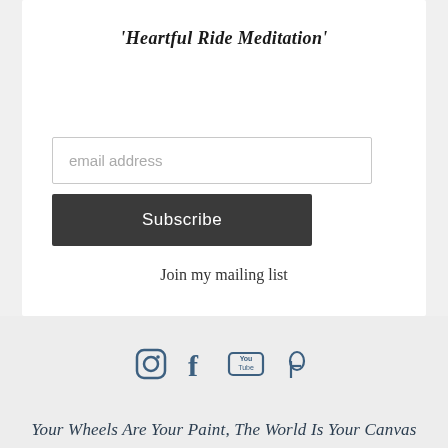'Heartful Ride Meditation'
email address
Subscribe
Join my mailing list
[Figure (infographic): Row of social media icons: Instagram, Facebook, YouTube, Pinterest]
Your Wheels Are Your Paint, The World Is Your Canvas
Copyright 2011-2022 © Cycle Your Heart Out